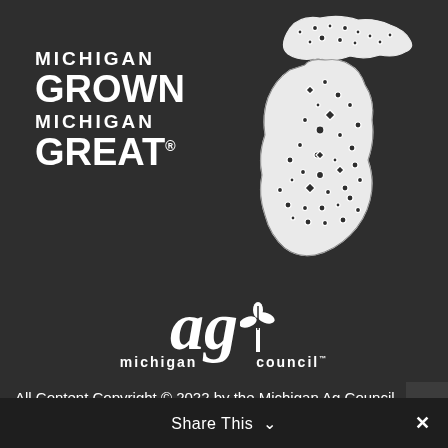[Figure (logo): Michigan Grown Michigan Great logo with decorative Michigan state map outline filled with floral/botanical patterns in white on dark background, with bold white text reading MICHIGAN GROWN MICHIGAN GREAT with registered trademark symbol]
[Figure (logo): Michigan Ag Council logo with large stylized 'ag' letters in italic bold white, a plant/sprout icon between the letters, and 'michigan council' text below in white bold letters with trademark symbol]
All Content Copyright © 2022 by the Michigan Ag Council
Share This ∨  ✕